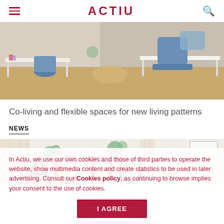ACTIU
[Figure (photo): Office space with white desks, blue chairs, wooden floor, and modern furniture]
Co-living and flexible spaces for new living patterns
NEWS
[Figure (photo): Bright meeting room with white table, colorful chairs, plants, curtains, and a whiteboard]
In Actiu, we use our own cookies and those of third parties to operate the website, show multimedia content and create statistics to be used in later advertising. Consult our Cookies policy, as continuing to browse implies your consent to the use of cookies.